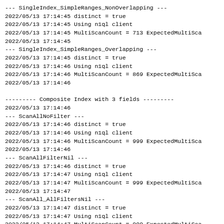--- SingleIndex_SimpleRanges_NonOverlapping ---
2022/05/13 17:14:45 distinct = true
2022/05/13 17:14:45 Using n1ql client
2022/05/13 17:14:45 MultiScanCount = 713 ExpectedMultiSca
2022/05/13 17:14:45
--- SingleIndex_SimpleRanges_Overlapping ---
2022/05/13 17:14:45 distinct = true
2022/05/13 17:14:46 Using n1ql client
2022/05/13 17:14:46 MultiScanCount = 869 ExpectedMultiSca
2022/05/13 17:14:46

--------- Composite Index with 3 fields ---------
2022/05/13 17:14:46
--- ScanAllNoFilter ---
2022/05/13 17:14:46 distinct = true
2022/05/13 17:14:46 Using n1ql client
2022/05/13 17:14:46 MultiScanCount = 999 ExpectedMultiSca
2022/05/13 17:14:46
--- ScanAllFilterNil ---
2022/05/13 17:14:46 distinct = true
2022/05/13 17:14:47 Using n1ql client
2022/05/13 17:14:47 MultiScanCount = 999 ExpectedMultiSca
2022/05/13 17:14:47
--- ScanAll_AllFiltersNil ---
2022/05/13 17:14:47 distinct = true
2022/05/13 17:14:47 Using n1ql client
2022/05/13 17:14:47 MultiScanCount = 999 ExpectedMultiSca
2022/05/13 17:14:47
--- 3FieldsSingleSeek ---
2022/05/13 17:14:47 distinct = true